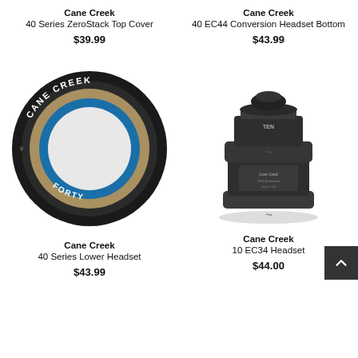Cane Creek
40 Series ZeroStack Top Cover
$39.99
Cane Creek
40 EC44 Conversion Headset Bottom
$43.99
[Figure (photo): Cane Creek 40 Series Lower Headset — circular headset ring with black outer ring, tan/gold inner ring, blue accent ring, CANE CREEK text on top, FORTY text on bottom]
[Figure (photo): Cane Creek 10 EC34 Headset — dark gray/black cylindrical headset assembly with stacked rings and labeled text markings]
Cane Creek
40 Series Lower Headset
$43.99
Cane Creek
10 EC34 Headset
$44.00